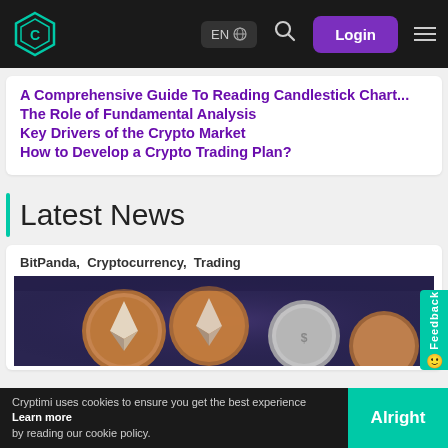EN  Login
A Comprehensive Guide To Reading Candlestick Chart...
The Role of Fundamental Analysis
Key Drivers of the Crypto Market
How to Develop a Crypto Trading Plan?
Latest News
BitPanda,  Cryptocurrency,  Trading
[Figure (photo): Cryptocurrency coins (Ethereum and other coins) arranged on a dark blue surface]
Cryptimi uses cookies to ensure you get the best experience Learn more by reading our cookie policy.